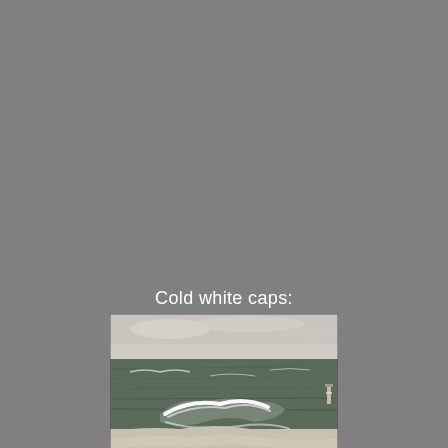Cold white caps:
[Figure (photo): Photograph of a cold lakeside or seashore scene in winter. Waves with white caps roll in from dark, choppy water toward a snow-covered beach. Bare brown shrubs and a large driftwood log are visible in the foreground. A lighthouse or pier structure is visible in the far right background. The sky is pale and overcast.]